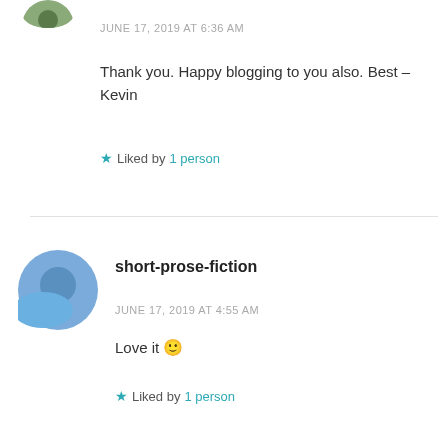[Figure (photo): Partial circular avatar image cut off at top of page]
JUNE 17, 2019 AT 6:36 AM
Thank you. Happy blogging to you also. Best – Kevin
★ Liked by 1 person
[Figure (photo): Blue circular avatar for short-prose-fiction user]
short-prose-fiction
JUNE 17, 2019 AT 4:55 AM
Love it 🙂
★ Liked by 1 person